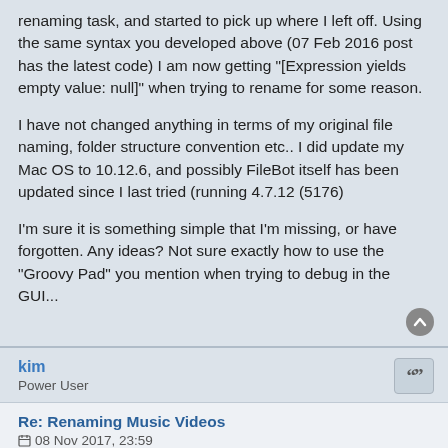renaming task, and started to pick up where I left off. Using the same syntax you developed above (07 Feb 2016 post has the latest code) I am now getting "[Expression yields empty value: null]" when trying to rename for some reason.
I have not changed anything in terms of my original file naming, folder structure convention etc.. I did update my Mac OS to 10.12.6, and possibly FileBot itself has been updated since I last tried (running 4.7.12 (5176)
I'm sure it is something simple that I'm missing, or have forgotten. Any ideas? Not sure exactly how to use the "Groovy Pad" you mention when trying to debug in the GUI...
kim
Power User
Re: Renaming Music Videos
08 Nov 2017, 23:59
I just tested in the GUI
Path/file demo